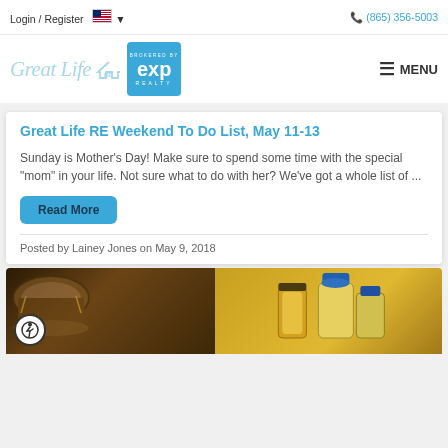Login / Register   🇺🇸 ▾       📞 (865) 356-5003
[Figure (logo): Great Life RE logo with eXp Realty brokered by badge and MENU button]
Great Life RE Weekend To Do List, May 11-13
Sunday is Mother's Day! Make sure to spend some time with the special "mom" in your life. Not sure what to do with her? We've got a whole list of ...
Read More
Posted by Lainey Jones on May 9, 2018
[Figure (photo): Photo showing drums on the left and drinks (beer and margaritas) on the right]